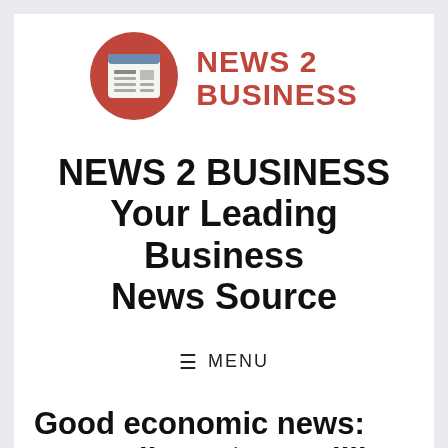[Figure (logo): News 2 Business logo: red/salmon circle with a newspaper icon inside, next to bold red text reading NEWS 2 BUSINESS]
NEWS 2 BUSINESS
Your Leading Business News Source
≡ MENU
Good economic news: S.C. collects $421 million more in taxes